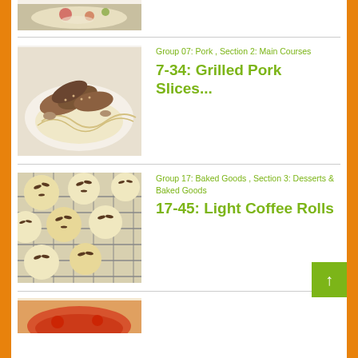[Figure (photo): Top cropped food photo showing a dish with vegetables and garnish on a white plate]
[Figure (photo): Grilled pork slices served over noodles or pasta with mushrooms on a white plate]
Group 07: Pork , Section 2: Main Courses
7-34: Grilled Pork Slices...
[Figure (photo): Light coffee rolls with almond toppings cooling on a wire rack]
Group 17: Baked Goods , Section 3: Desserts & Baked Goods
17-45: Light Coffee Rolls
[Figure (photo): Bottom partially visible food photo]